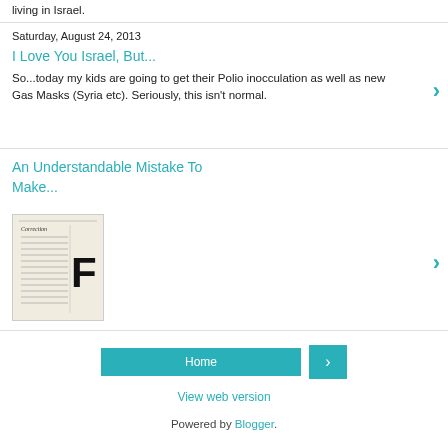living in Israel.
Saturday, August 24, 2013
I Love You Israel, But...
So...today my kids are going to get their Polio inocculation as well as new Gas Masks (Syria etc). Seriously, this isn't normal.
An Understandable Mistake To Make...
[Figure (photo): Newspaper clipping showing a 'Correction' notice with large bold letter 'F' visible]
Home
View web version
Powered by Blogger.